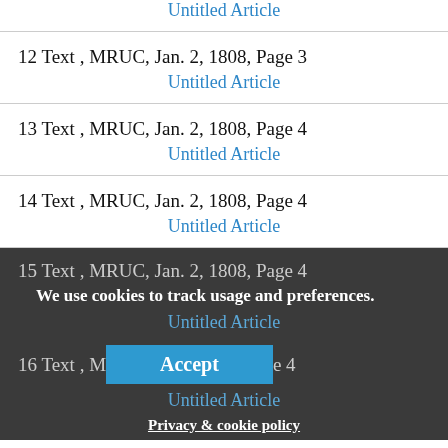Untitled Article
12  Text ,  MRUC, Jan. 2, 1808, Page 3
Untitled Article
13  Text ,  MRUC, Jan. 2, 1808, Page 4
Untitled Article
14  Text ,  MRUC, Jan. 2, 1808, Page 4
Untitled Article
15  Text ,  MRUC, Jan. 2, 1808, Page 4
Untitled Article
We use cookies to track usage and preferences.
16  Text ,  M...  e 4
Untitled Article
Accept
Privacy & cookie policy